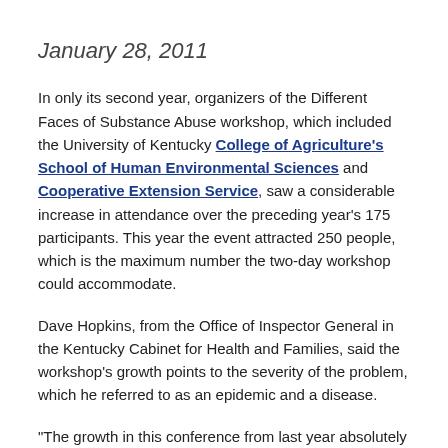January 28, 2011
In only its second year, organizers of the Different Faces of Substance Abuse workshop, which included the University of Kentucky College of Agriculture's School of Human Environmental Sciences and Cooperative Extension Service, saw a considerable increase in attendance over the preceding year's 175 participants. This year the event attracted 250 people, which is the maximum number the two-day workshop could accommodate.
Dave Hopkins, from the Office of Inspector General in the Kentucky Cabinet for Health and Families, said the workshop's growth points to the severity of the problem, which he referred to as an epidemic and a disease.
"The growth in this conference from last year absolutely amazed me." he said. "We do need much more recognition